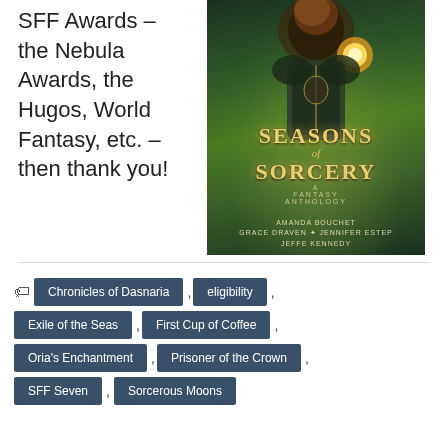SFF Awards – the Nebula Awards, the Hugos, World Fantasy, etc. – then thank you!
[Figure (illustration): Book cover for 'Seasons of Sorcery: A Fantasy Anthology' by Amanda Bouchet, Grace Draven, Jennifer Estep, Jeffe Kennedy. Shows a fantasy warrior figure with glowing magic, dark green atmospheric background.]
Chronicles of Dasnaria
eligibility
Exile of the Seas
First Cup of Coffee
Oria's Enchantment
Prisoner of the Crown
SFF Seven
Sorcerous Moons